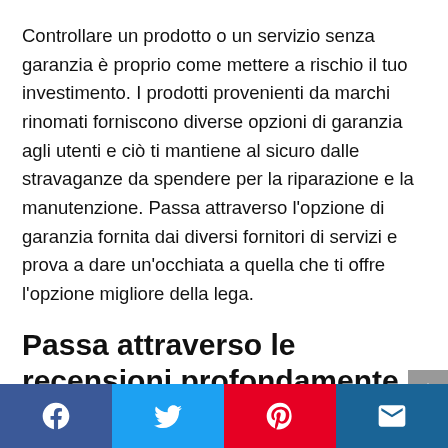Controllare un prodotto o un servizio senza garanzia è proprio come mettere a rischio il tuo investimento. I prodotti provenienti da marchi rinomati forniscono diverse opzioni di garanzia agli utenti e ciò ti mantiene al sicuro dalle stravaganze da spendere per la riparazione e la manutenzione. Passa attraverso l'opzione di garanzia fornita dai diversi fornitori di servizi e prova a dare un'occhiata a quella che ti offre l'opzione migliore della lega.
Passa attraverso le recensioni profondamente
Le recensioni aiutano i consumatori a conoscere in
Facebook Twitter Pinterest Email